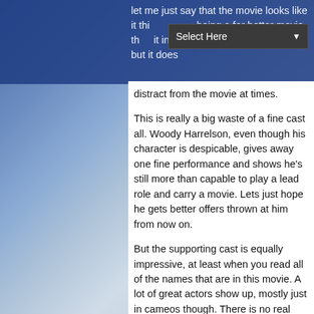let me just say that the movie looks like it thinks about being a far better movie than it in fact truly is. It's not annoying but it does distract from the movie at times.
This is really a big waste of a fine cast all. Woody Harrelson, even though his character is despicable, gives away one fine performance and shows he's still more than capable to play a lead role and carry a movie. Lets just hope he gets better offers thrown at him from now on.
But the supporting cast is equally impressive, at least when you read all of the names that are in this movie. A lot of great actors show up, mostly just in cameos though. There is no real reason for actors such as Ben Foster, Cynthia Nixon, Anne Heche, Ned Beatty, Robin Wright, Steve Buscemi and Sigourney Weaver to be in this